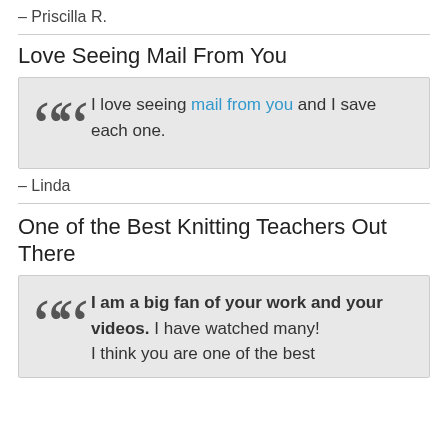– Priscilla R.
Love Seeing Mail From You
I love seeing mail from you and I save each one.
– Linda
One of the Best Knitting Teachers Out There
I am a big fan of your work and your videos. I have watched many! I think you are one of the best